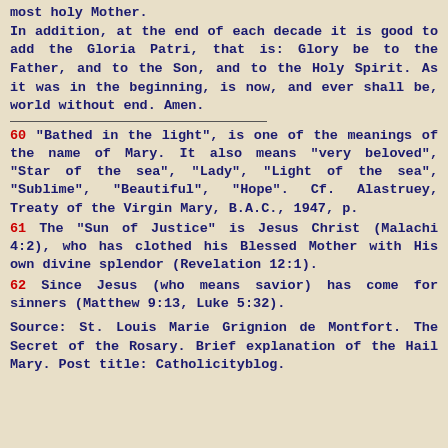most holy Mother.
In addition, at the end of each decade it is good to add the Gloria Patri, that is: Glory be to the Father, and to the Son, and to the Holy Spirit. As it was in the beginning, is now, and ever shall be, world without end. Amen.
60 "Bathed in the light", is one of the meanings of the name of Mary. It also means "very beloved", "Star of the sea", "Lady", "Light of the sea", "Sublime", "Beautiful", "Hope". Cf. Alastruey, Treaty of the Virgin Mary, B.A.C., 1947, p.
61 The "Sun of Justice" is Jesus Christ (Malachi 4:2), who has clothed his Blessed Mother with His own divine splendor (Revelation 12:1).
62 Since Jesus (who means savior) has come for sinners (Matthew 9:13, Luke 5:32).
Source: St. Louis Marie Grignion de Montfort. The Secret of the Rosary. Brief explanation of the Hail Mary. Post title: Catholicityblog.